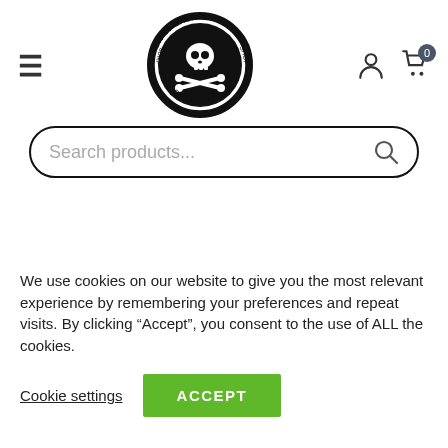[Figure (logo): Bit of Salt surf shop logo — circular badge with skull and crossbones, text 'BIT OF SALT' around top and 'PAROS' at bottom, 'SURF SHOP' on sides]
[Figure (screenshot): Search bar with placeholder text 'Search products...' and magnifying glass icon]
Home > Shop > Waterwear > Lycras > Women
We use cookies on our website to give you the most relevant experience by remembering your preferences and repeat visits. By clicking “Accept”, you consent to the use of ALL the cookies.
Cookie settings
ACCEPT